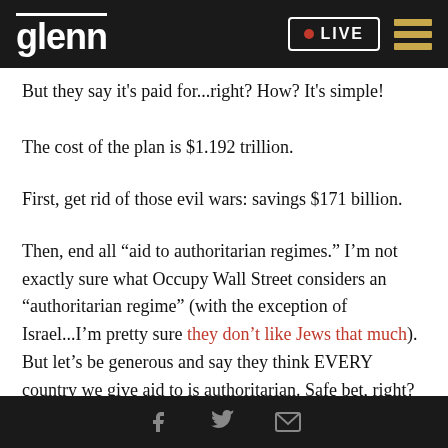glenn • LIVE
But they say it's paid for...right?  How? It's simple!
The cost of the plan is $1.192 trillion.
First, get rid of those evil wars: savings $171 billion.
Then, end all “aid to authoritarian regimes.”  I’m not exactly sure what Occupy Wall Street considers an “authoritarian regime” (with the exception of Israel...I’m pretty sure they don’t like Jews that much).  But let’s be generous and say they think EVERY country we give aid to is authoritarian.  Safe bet, right?  That saves us a hefty $49 billion.
Social share icons: Facebook, Twitter, Email